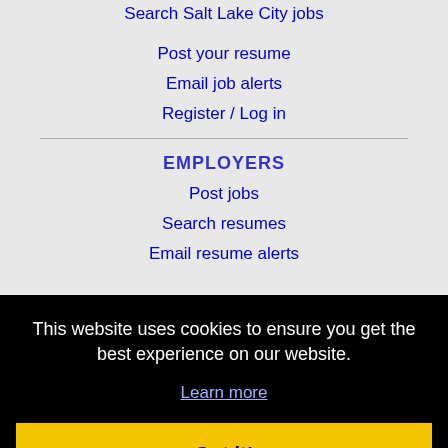Search Salt Lake City jobs
Post your resume
Email job alerts
Register / Log in
EMPLOYERS
Post jobs
Search resumes
Email resume alerts
This website uses cookies to ensure you get the best experience on our website.
Learn more
Got it!